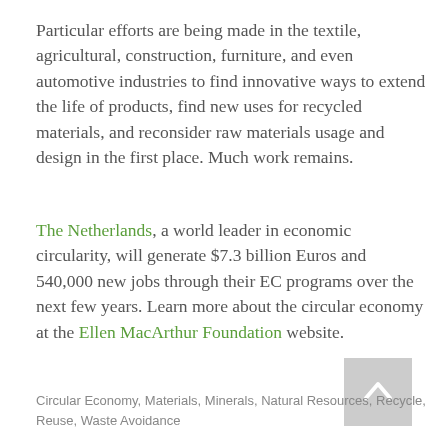Particular efforts are being made in the textile, agricultural, construction, furniture, and even automotive industries to find innovative ways to extend the life of products, find new uses for recycled materials, and reconsider raw materials usage and design in the first place. Much work remains.
The Netherlands, a world leader in economic circularity, will generate $7.3 billion Euros and 540,000 new jobs through their EC programs over the next few years. Learn more about the circular economy at the Ellen MacArthur Foundation website.
Circular Economy, Materials, Minerals, Natural Resources, Recycle, Reuse, Waste Avoidance